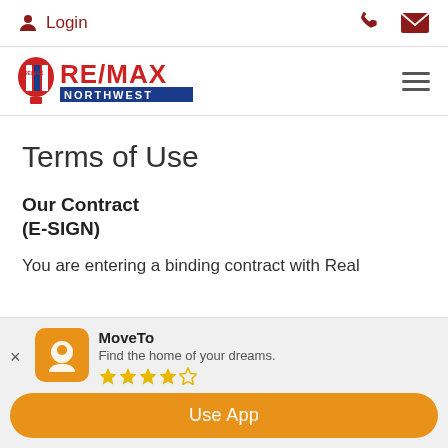Login
[Figure (logo): RE/MAX Northwest logo with hot air balloon icon]
Terms of Use
Our Contract
(E-SIGN)
You are entering a binding contract with Real
MoveTo
Find the home of your dreams.
★★★★☆
Use App